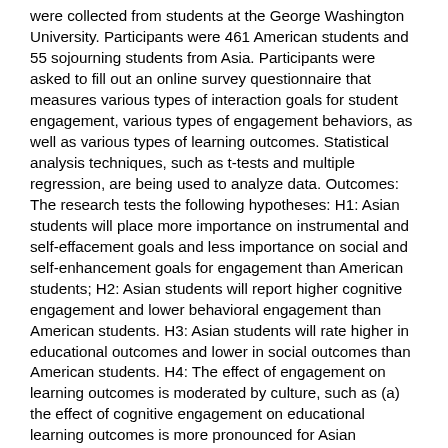were collected from students at the George Washington University. Participants were 461 American students and 55 sojourning students from Asia. Participants were asked to fill out an online survey questionnaire that measures various types of interaction goals for student engagement, various types of engagement behaviors, as well as various types of learning outcomes. Statistical analysis techniques, such as t-tests and multiple regression, are being used to analyze data. Outcomes: The research tests the following hypotheses: H1: Asian students will place more importance on instrumental and self-effacement goals and less importance on social and self-enhancement goals for engagement than American students; H2: Asian students will report higher cognitive engagement and lower behavioral engagement than American students. H3: Asian students will rate higher in educational outcomes and lower in social outcomes than American students. H4: The effect of engagement on learning outcomes is moderated by culture, such as (a) the effect of cognitive engagement on educational learning outcomes is more pronounced for Asian students, whereas (b) the effect of behavioral engagement on personal/social learning outcomes is more pronounced for American students.